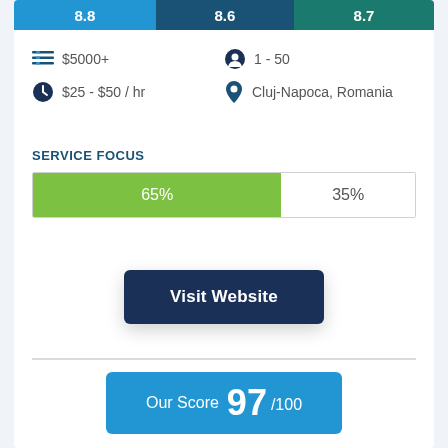[Figure (infographic): Top bar with three score segments: 8.8 (blue), 8.6 (dark blue), 8.7 (teal)]
$5000+
1 - 50
$25 - $50 / hr
Cluj-Napoca, Romania
SERVICE FOCUS
[Figure (stacked-bar-chart): Service Focus]
Visit Website
Our Score 97 /100